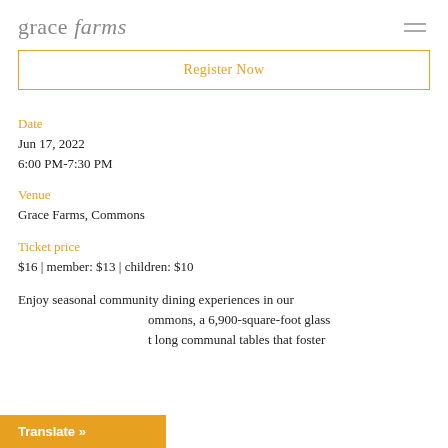grace farms
Register Now
Date
Jun 17, 2022
6:00 PM-7:30 PM
Venue
Grace Farms, Commons
Ticket price
$16 | member: $13 | children: $10
Enjoy seasonal community dining experiences in our Commons, a 6,900-square-foot glass t long communal tables that foster